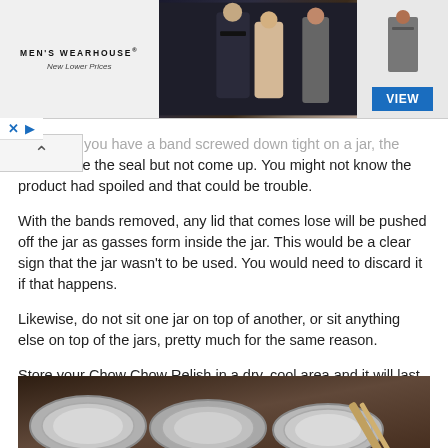[Figure (photo): Men's Wearhouse advertisement banner showing a couple in formal wear and a man in a suit, with a VIEW button]
ny seal. If you have a band screwed down tight on a jar, the lid can lose the seal but not come up. You might not know the product had spoiled and that could be trouble.
With the bands removed, any lid that comes lose will be pushed off the jar as gasses form inside the jar. This would be a clear sign that the jar wasn't to be used. You would need to discard it if that happens.
Likewise, do not sit one jar on top of another, or sit anything else on top of the jars, pretty much for the same reason.
Store your Chow Chow Relish in a dry, cool area and it will last you for well over a year.
...
[Figure (photo): Mason jar lids and bands arranged on a surface]